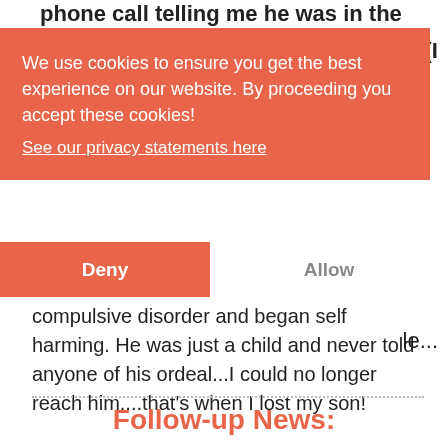phone call telling me he was in the hospital
[Figure (screenshot): Cookie consent banner with orange background. Text reads: 'We use cookies to ensure you get the best experience on our website. By proceeding you accept these cookies!' with a link 'See our privacy statements here'. Two buttons: 'Deny' (orange) and 'Allow' (white/grey).]
compulsive disorder and began self harming. He was just a child and never told anyone of his ordeal...I could no longer reach him....that’s when I lost my son!
Follow-up News: